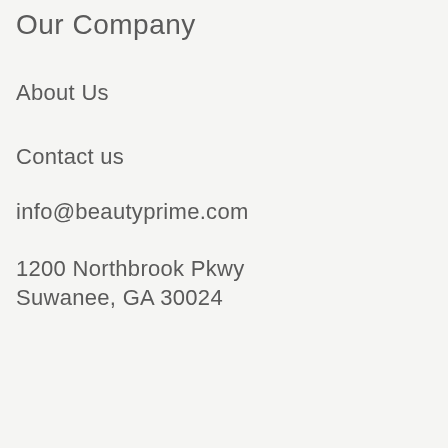Our Company
About Us
Contact us
info@beautyprime.com
1200 Northbrook Pkwy
Suwanee, GA 30024